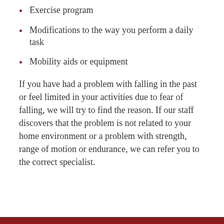Exercise program
Modifications to the way you perform a daily task
Mobility aids or equipment
If you have had a problem with falling in the past or feel limited in your activities due to fear of falling, we will try to find the reason. If our staff discovers that the problem is not related to your home environment or a problem with strength, range of motion or endurance, we can refer you to the correct specialist.